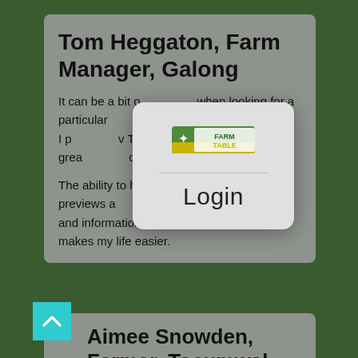Tom Heggaton, Farm Manager, Galong
It can be a bit o[verwhelmling] when looking for a particular [res]ource on the internet, and I p[erceive] The Farm Table as a grea[t tool that] does the hard work for me!
The ability to ha[ve a] central site that previews a[nd provid]es similar groups of data and information is hugely beneficial and makes my life easier.
[Figure (logo): Farm Table logo — rectangular badge with green and yellow/blue field imagery and text 'FARM TABLE']
Login
Aimee Snowden, Farmer, Tocumwal
The Farm Table will save so much time; to have all the information in one reputable